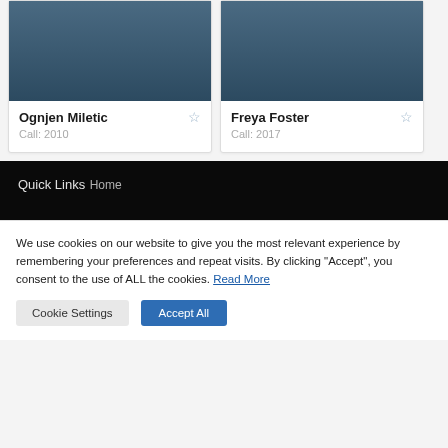[Figure (photo): Profile card for Ognjen Miletic with dark blue header image, name and Call: 2010]
[Figure (photo): Profile card for Freya Foster with dark blue header image, name and Call: 2017]
Quick Links
Home
We use cookies on our website to give you the most relevant experience by remembering your preferences and repeat visits. By clicking "Accept", you consent to the use of ALL the cookies. Read More